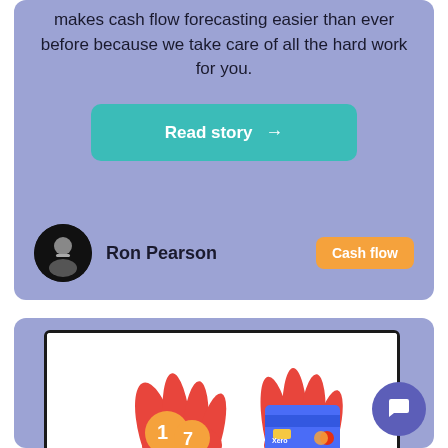makes cash flow forecasting easier than ever before because we take care of all the hard work for you.
Read story →
Ron Pearson
Cash flow
[Figure (screenshot): Bottom card showing a screen frame with illustrated hands holding a number badge and a credit card, with a chat bubble icon in the corner.]